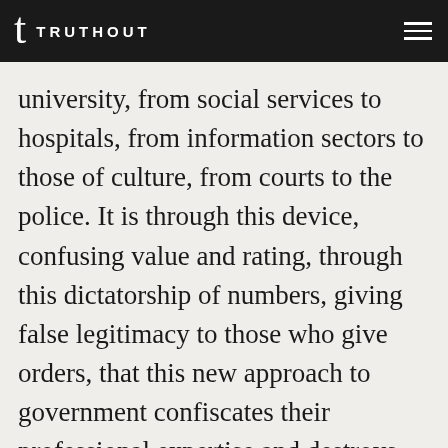TRUTHOUT
university, from social services to hospitals, from information sectors to those of culture, from courts to the police. It is through this device, confusing value and rating, through this dictatorship of numbers, giving false legitimacy to those who give orders, that this new approach to government confiscates their professional expertise and destroys the dimension of their profession as a craft. The user’s manual of the digital machine has replaced judgment, thinking; and the power of decision of the